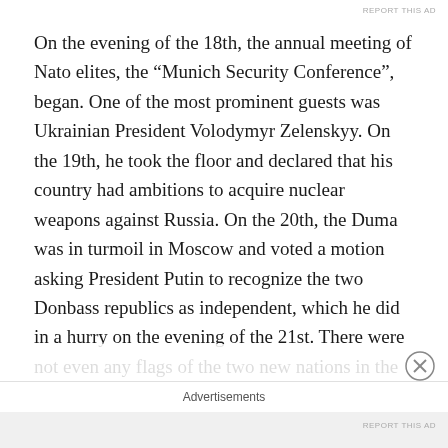REPORT THIS AD
On the evening of the 18th, the annual meeting of Nato elites, the “Munich Security Conference”, began. One of the most prominent guests was Ukrainian President Volodymyr Zelenskyy. On the 19th, he took the floor and declared that his country had ambitions to acquire nuclear weapons against Russia. On the 20th, the Duma was in turmoil in Moscow and voted a motion asking President Putin to recognize the two Donbass republics as independent, which he did in a hurry on the evening of the 21st. There were not even any flags of the two new nations in the Kremlin.
On the 24th, the Russian military operation began with a
Advertisements
REPORT THIS AD